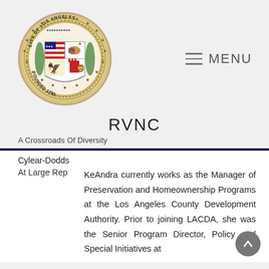[Figure (logo): City of Los Angeles official seal, circular, with text 'CITY OF LOS ANGELES' around the top and 'FOUNDED 1781' at the bottom, featuring a shield with bear, eagle, lion, castle, and US flag segments, surrounded by a beaded border with stars]
RVNC
A Crossroads Of Diversity
Cylear-Dodds
At Large Rep
KeAndra currently works as the Manager of Preservation and Homeownership Programs at the Los Angeles County Development Authority. Prior to joining LACDA, she was the Senior Program Director, Policy and Special Initiatives at